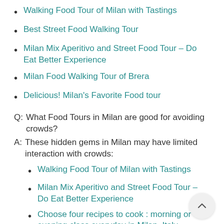Walking Food Tour of Milan with Tastings
Best Street Food Walking Tour
Milan Mix Aperitivo and Street Food Tour – Do Eat Better Experience
Milan Food Walking Tour of Brera
Delicious! Milan's Favorite Food tour
Q:  What Food Tours in Milan are good for avoiding crowds?
A:  These hidden gems in Milan may have limited interaction with crowds:
Walking Food Tour of Milan with Tastings
Milan Mix Aperitivo and Street Food Tour – Do Eat Better Experience
Choose four recipes to cook : morning or evening class everyday in Milan, Italy